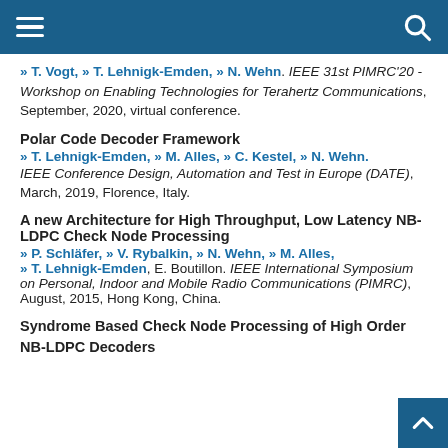[Navigation header with hamburger menu and search icon]
» T. Vogt, » T. Lehnigk-Emden, » N. Wehn. IEEE 31st PIMRC'20 - Workshop on Enabling Technologies for Terahertz Communications, September, 2020, virtual conference.
Polar Code Decoder Framework
» T. Lehnigk-Emden, » M. Alles, » C. Kestel, » N. Wehn.
IEEE Conference Design, Automation and Test in Europe (DATE), March, 2019, Florence, Italy.
A new Architecture for High Throughput, Low Latency NB-LDPC Check Node Processing
» P. Schläfer, » V. Rybalkin, » N. Wehn, » M. Alles, » T. Lehnigk-Emden, E. Boutillon. IEEE International Symposium on Personal, Indoor and Mobile Radio Communications (PIMRC), August, 2015, Hong Kong, China.
Syndrome Based Check Node Processing of High Order NB-LDPC Decoders